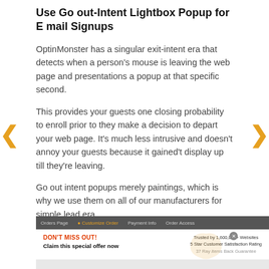Use Go out-Intent Lightbox Popup for E mail Signups
OptinMonster has a singular exit-intent era that detects when a person's mouse is leaving the web page and presentations a popup at that specific second.
This provides your guests one closing probability to enroll prior to they make a decision to depart your web page. It's much less intrusive and doesn't annoy your guests because it gained't display up till they're leaving.
Go out intent popups merely paintings, which is why we use them on all of our manufacturers for simple lead era.
[Figure (screenshot): Screenshot of a popup modal with 'DON'T MISS OUT!' in orange text and 'Claim this special offer now' in bold, with trust badges on the right side including '1,600,000+ Websites', '5 Star Customer Satisfaction Rating', and partially visible text below.]